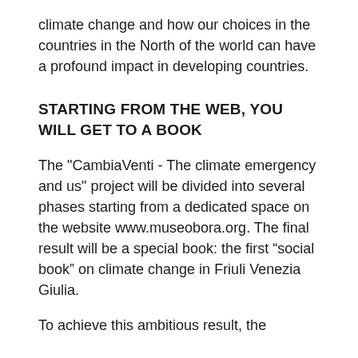climate change and how our choices in the countries in the North of the world can have a profound impact in developing countries.
STARTING FROM THE WEB, YOU WILL GET TO A BOOK
The "CambiaVenti - The climate emergency and us" project will be divided into several phases starting from a dedicated space on the website www.museobora.org. The final result will be a special book: the first “social book” on climate change in Friuli Venezia Giulia.
To achieve this ambitious result, the